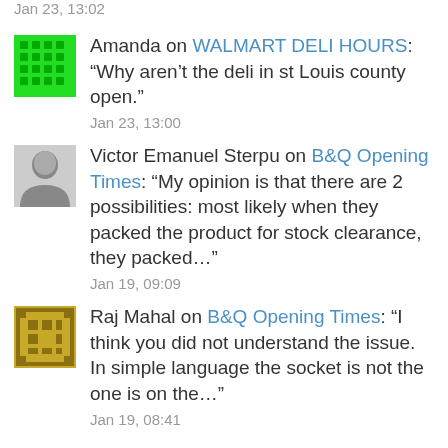Jan 23, 13:02
Amanda on WALMART DELI HOURS: “Why aren’t the deli in st Louis county open.”
Jan 23, 13:00
Victor Emanuel Sterpu on B&Q Opening Times: “My opinion is that there are 2 possibilities: most likely when they packed the product for stock clearance, they packed…”
Jan 19, 09:09
Raj Mahal on B&Q Opening Times: “I think you did not understand the issue. In simple language the socket is not the one is on the…”
Jan 19, 08:41